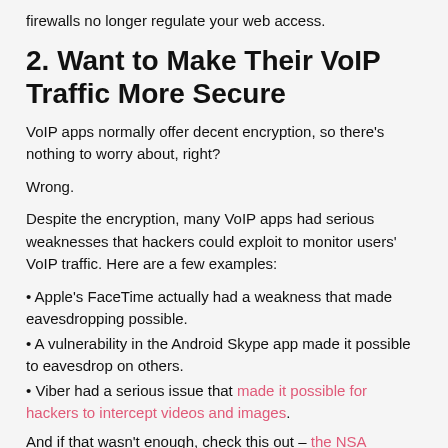firewalls no longer regulate your web access.
2. Want to Make Their VoIP Traffic More Secure
VoIP apps normally offer decent encryption, so there's nothing to worry about, right?
Wrong.
Despite the encryption, many VoIP apps had serious weaknesses that hackers could exploit to monitor users' VoIP traffic. Here are a few examples:
Apple's FaceTime actually had a weakness that made eavesdropping possible.
A vulnerability in the Android Skype app made it possible to eavesdrop on others.
Viber had a serious issue that made it possible for hackers to intercept videos and images.
And if that wasn't enough, check this out – the NSA